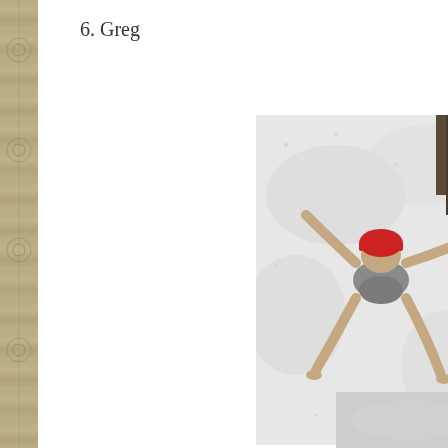6. Greg
[Figure (photo): Person lying in snow making a snow angel, wearing grey shorts and a red hat, barefoot, viewed from above]
[Figure (photo): Partial view of a snowy scene, partially visible at bottom right]